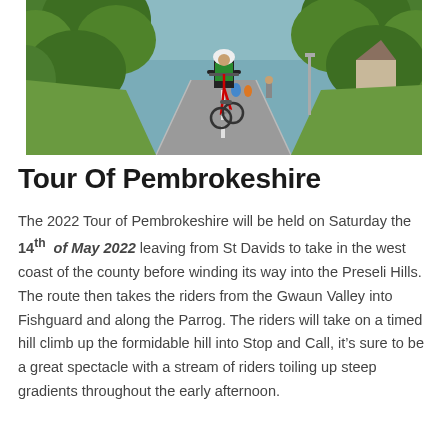[Figure (photo): A cyclist in a helmet and green jersey riding down a narrow country lane lined with green hedges and trees. Other cyclists and pedestrians are visible in the background on a sunny day.]
Tour Of Pembrokeshire
The 2022 Tour of Pembrokeshire will be held on Saturday the 14th of May 2022 leaving from St Davids to take in the west coast of the county before winding its way into the Preseli Hills. The route then takes the riders from the Gwaun Valley into Fishguard and along the Parrog. The riders will take on a timed hill climb up the formidable hill into Stop and Call, it’s sure to be a great spectacle with a stream of riders toiling up steep gradients throughout the early afternoon.